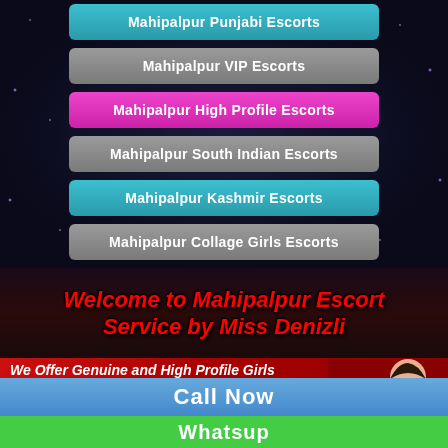Mahipalpur Punjabi Escorts
Mahipalpur VIP Escorts
Mahipalpur High Profile Escorts
Mahipalpur South Indian Escorts
Mahipalpur Kashmir Escorts
Mahipalpur Collage Girls Escorts
Welcome to Mahipalpur Escort Service by Miss Denizli
We Offer Genuine and High Profile Girls Top Class Models ★VIP Available Now
Call Now
Whatsup